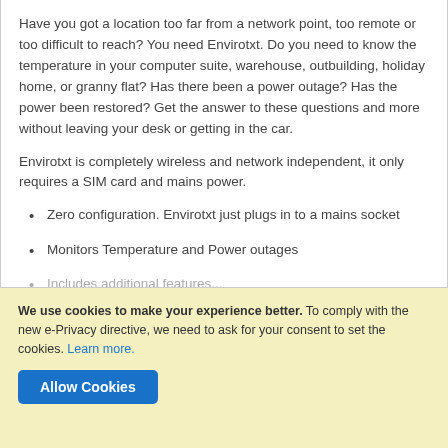Have you got a location too far from a network point, too remote or too difficult to reach? You need Envirotxt. Do you need to know the temperature in your computer suite, warehouse, outbuilding, holiday home, or granny flat? Has there been a power outage? Has the power been restored? Get the answer to these questions and more without leaving your desk or getting in the car.
Envirotxt is completely wireless and network independent, it only requires a SIM card and mains power.
Zero configuration. Envirotxt just plugs in to a mains socket
Monitors Temperature and Power outages
Includes additional features...
We use cookies to make your experience better. To comply with the new e-Privacy directive, we need to ask for your consent to set the cookies. Learn more.